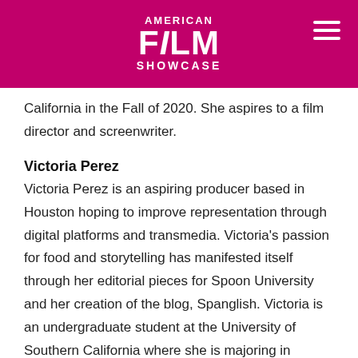AMERICAN FILM SHOWCASE
California in the Fall of 2020. She aspires to a film director and screenwriter.
Victoria Perez
Victoria Perez is an aspiring producer based in Houston hoping to improve representation through digital platforms and transmedia. Victoria’s passion for food and storytelling has manifested itself through her editorial pieces for Spoon University and her creation of the blog, Spanglish. Victoria is an undergraduate student at the University of Southern California where she is majoring in Cinema and Media Studies with an emphasis in transglobal storytelling.
Ben Ragasa
Benjamin Ragasa brings life to vibrant characters with